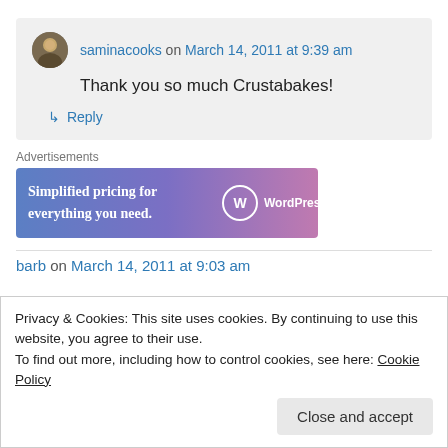saminacooks on March 14, 2011 at 9:39 am
Thank you so much Crustabakes!
↳ Reply
Advertisements
[Figure (other): WordPress.com advertisement banner: 'Simplified pricing for everything you need.' with WordPress.com logo, blue-to-pink gradient background]
barb on March 14, 2011 at 9:03 am
Privacy & Cookies: This site uses cookies. By continuing to use this website, you agree to their use.
To find out more, including how to control cookies, see here: Cookie Policy
Close and accept